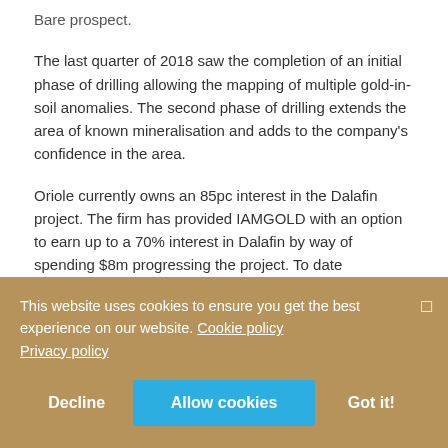Bare prospect.
The last quarter of 2018 saw the completion of an initial phase of drilling allowing the mapping of multiple gold-in-soil anomalies. The second phase of drilling extends the area of known mineralisation and adds to the company's confidence in the area.
Oriole currently owns an 85pc interest in the Dalafin project. The firm has provided IAMGOLD with an option to earn up to a 70% interest in Dalafin by way of spending $8m progressing the project. To date IAMGOLD has spent $534k on exploration, meeting their first-year commitment.
IAMGOLD targeted three main zones including a 15.km long anomaly which was defined in the initial phase of drilling. Drilling is
This website uses cookies to ensure you get the best experience on our website. Cookie policy Privacy policy